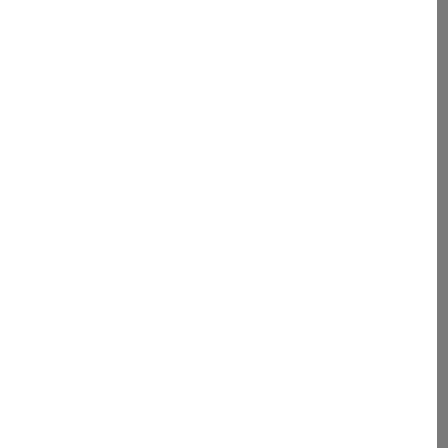which destabilized the relation and quite a few countries [aro...
Thai script block 1 (large Thai characters)
saehtL thaL gitL dtohkL dtamL yaangL dtehL foonL ganM maiF naawyH
"With the economy in a reces... probably be a lot of people out...
Thai script block 2 (large Thai characters, 3 lines)
dtaaeL phraH baawkL yaatF yo:hmM d... khuaanM saiL ngernM lohngM bpaiM n... japL ganM maaM laaiR meeuM meeM ...
"But a monk can tell his suppo... put cash into [his bowl] becaus... many hands and has lots of ge...
Thai script block 3 (large Thai characters, 1 line)
thaehM saaiM jamM nuaanM maiF naa... yeuuakL
"[I]t [cannot be counted...] ...